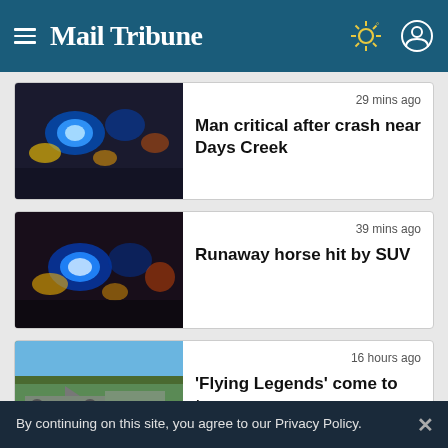Mail Tribune
29 mins ago
Man critical after crash near Days Creek
39 mins ago
Runaway horse hit by SUV
16 hours ago
'Flying Legends' come to town
By continuing on this site, you agree to our Privacy Policy.